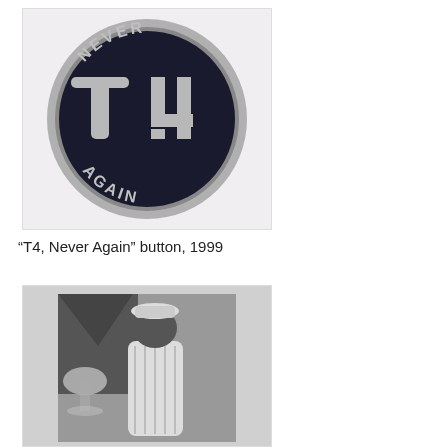[Figure (photo): A circular black enamel pin/button with silver lettering. The text 'NEVER' arcs across the top, 'AGAIN' arcs across the bottom, and large letters 'T4' appear in the center. The pin has a silver metallic border.]
“T4, Never Again” button, 1999
[Figure (photo): A black and white photograph of a person wearing a hat and striped pajamas or robe, standing indoors next to a lamp.]